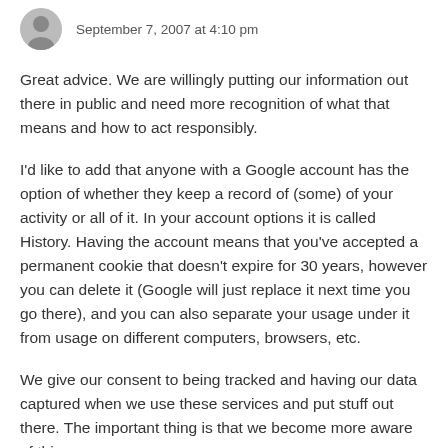September 7, 2007 at 4:10 pm
Great advice. We are willingly putting our information out there in public and need more recognition of what that means and how to act responsibly.
I'd like to add that anyone with a Google account has the option of whether they keep a record of (some) of your activity or all of it. In your account options it is called History. Having the account means that you've accepted a permanent cookie that doesn't expire for 30 years, however you can delete it (Google will just replace it next time you go there), and you can also separate your usage under it from usage on different computers, browsers, etc.
We give our consent to being tracked and having our data captured when we use these services and put stuff out there. The important thing is that we become more aware of this